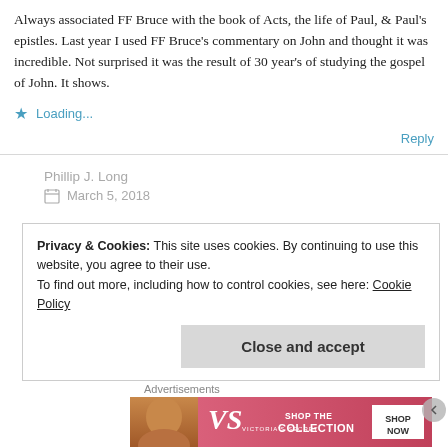Always associated FF Bruce with the book of Acts, the life of Paul, & Paul's epistles. Last year I used FF Bruce's commentary on John and thought it was incredible. Not surprised it was the result of 30 year's of studying the gospel of John. It shows.
Loading...
Reply
Phillip J. Long
March 5, 2018
Privacy & Cookies: This site uses cookies. By continuing to use this website, you agree to their use.
To find out more, including how to control cookies, see here: Cookie Policy
Close and accept
Advertisements
[Figure (photo): Victoria's Secret advertisement banner with a woman's photo on the left and pink background with text 'SHOP THE COLLECTION' and a 'SHOP NOW' white button on the right.]